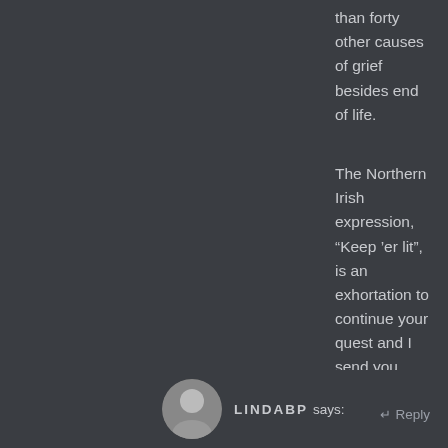than forty other causes of grief besides end of life.
The Northern Irish expression, “Keep ’er lit”, is an exhortation to continue your quest and I send you Reiki energy and every good wish for that worthy outcome.
With Universal Loving-kindness
Gerard Muldoon
Belfast
Northern Ireland
★ Like
LINDABP says:
↵ Reply